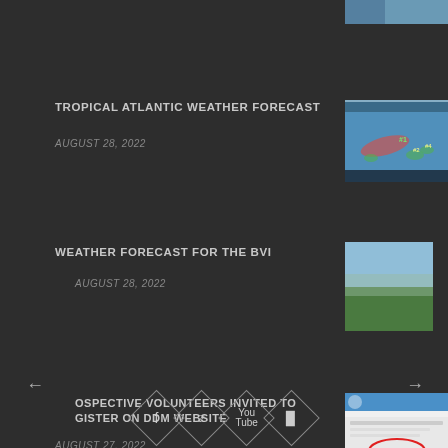[Figure (photo): Partial satellite/aerial photo visible at top right corner]
TROPICAL ATLANTIC WEATHER FORECAST
AUGUST 28, 2022
[Figure (map): Tropical Atlantic weather forecast map showing storm tracking areas]
WEATHER FORECAST FOR THE BVI
AUGUST 28, 2022
[Figure (photo): Photo of BVI landscape with sea and hills]
OSPECTIVE VOLUNTEERS INVITED TO GISTER ON DDM WEBSITE
AUGUST 27, 2022
[Figure (screenshot): Screenshot of DDM website with circled element]
[Figure (other): Social media icons: Facebook, Twitter, YouTube, Instagram in diamond shapes]